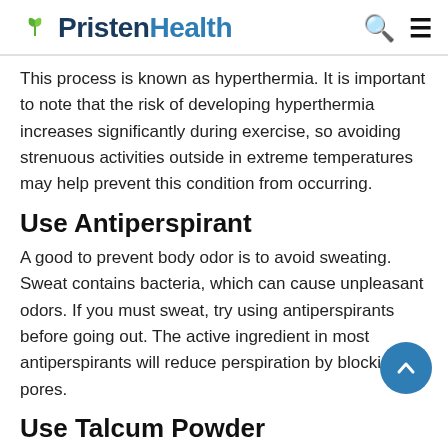PristenHealth
This process is known as hyperthermia. It is important to note that the risk of developing hyperthermia increases significantly during exercise, so avoiding strenuous activities outside in extreme temperatures may help prevent this condition from occurring.
Use Antiperspirant
A good to prevent body odor is to avoid sweating. Sweat contains bacteria, which can cause unpleasant odors. If you must sweat, try using antiperspirants before going out. The active ingredient in most antiperspirants will reduce perspiration by blocking pores.
Use Talcum Powder